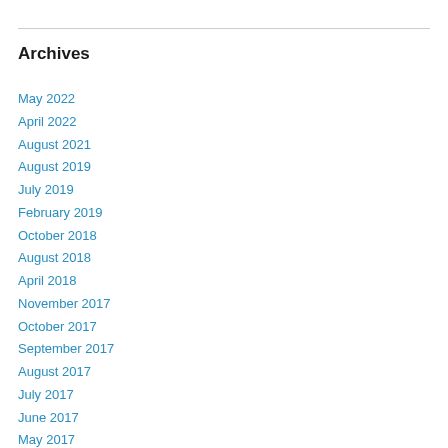Archives
May 2022
April 2022
August 2021
August 2019
July 2019
February 2019
October 2018
August 2018
April 2018
November 2017
October 2017
September 2017
August 2017
July 2017
June 2017
May 2017